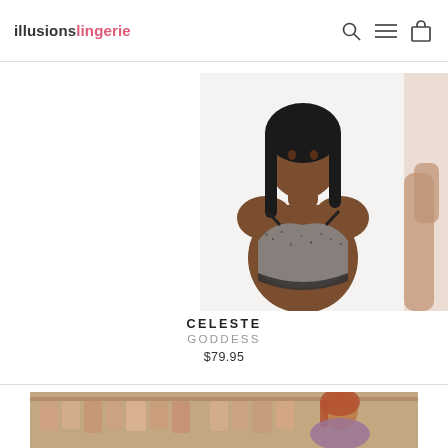illusions lingerie
[Figure (photo): Black woman wearing a grey and black patterned sports bra / full-coverage bra, facing forward against white background. Product photo for Celeste bra by Goddess.]
CELESTE
GODDESS
$79.95
[Figure (photo): Partial cropped photo of a second lingerie product on the right edge.]
[Figure (photo): Store interior photo showing lingerie items on hangers and a person with red hair browsing.]